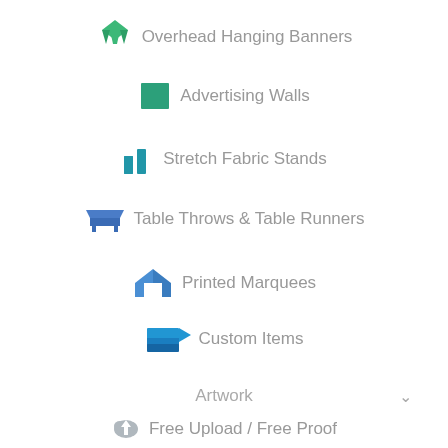Overhead Hanging Banners
Advertising Walls
Stretch Fabric Stands
Table Throws & Table Runners
Printed Marquees
Custom Items
Artwork
Free Upload / Free Proof